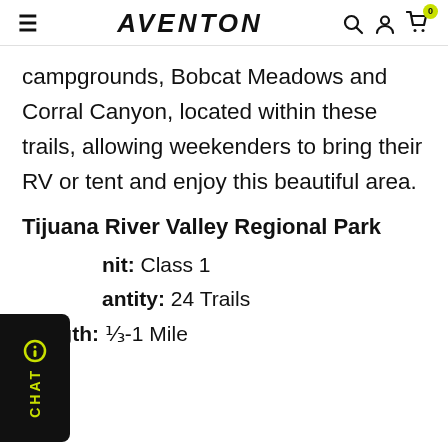AVENTON
campgrounds, Bobcat Meadows and Corral Canyon, located within these trails, allowing weekenders to bring their RV or tent and enjoy this beautiful area.
Tijuana River Valley Regional Park
Difficulty: Class 1
Quantity: 24 Trails
Length: ⅓-1 Mile